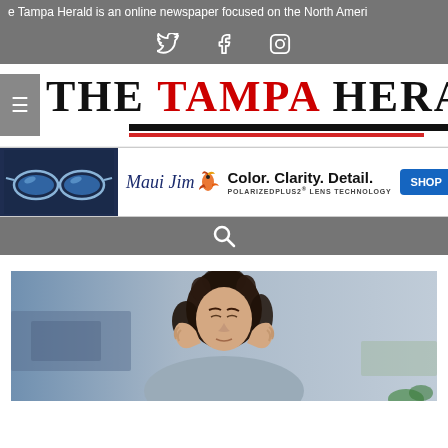e Tampa Herald is an online newspaper focused on the North Ameri
[Figure (logo): Social media icons: Twitter, Facebook, Instagram on gray bar]
[Figure (logo): The Tampa Herald masthead logo with black and red lettering, decorative underlines]
[Figure (infographic): Maui Jim advertisement banner: sunglasses photo on left, Maui Jim logo with bird, tagline Color. Clarity. Detail. POLARIZEDPLUS2 LENS TECHNOLOGY, blue SHOP button]
[Figure (infographic): Search bar with magnifying glass icon on gray background]
[Figure (photo): Woman with dark curly hair holding her temples with both hands, appearing to have a headache, blurred room background]